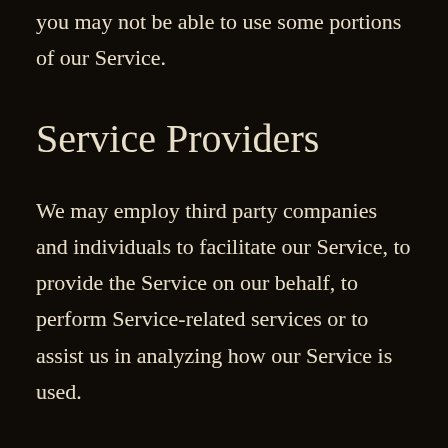you may not be able to use some portions of our Service.
Service Providers
We may employ third party companies and individuals to facilitate our Service, to provide the Service on our behalf, to perform Service-related services or to assist us in analyzing how our Service is used.
These third parties have access to your Personal Information only to perform these